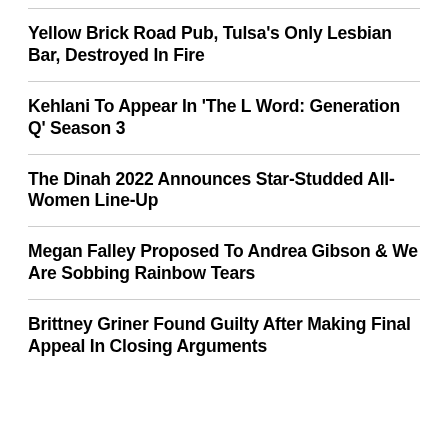Yellow Brick Road Pub, Tulsa's Only Lesbian Bar, Destroyed In Fire
Kehlani To Appear In ‘The L Word: Generation Q’ Season 3
The Dinah 2022 Announces Star-Studded All-Women Line-Up
Megan Falley Proposed To Andrea Gibson & We Are Sobbing Rainbow Tears
Brittney Griner Found Guilty After Making Final Appeal In Closing Arguments